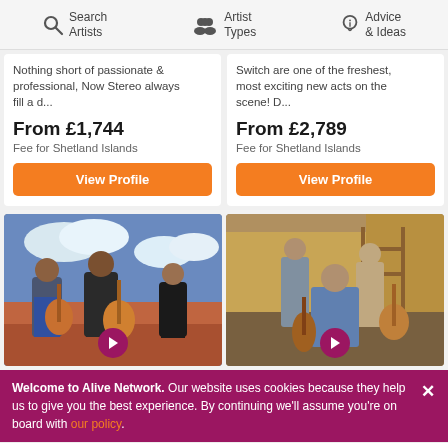Search Artists | Artist Types | Advice & Ideas
Nothing short of passionate & professional, Now Stereo always fill a d...
From £1,744
Fee for Shetland Islands
View Profile
Switch are one of the freshest, most exciting new acts on the scene! D...
From £2,789
Fee for Shetland Islands
View Profile
[Figure (photo): Three musicians posing outdoors on a rooftop/brick wall, two with guitars.]
[Figure (photo): Four musicians sitting in a barn with hay bales, one holding guitar.]
Welcome to Alive Network. Our website uses cookies because they help us to give you the best experience. By continuing we'll assume you're on board with our policy.
Trio
31